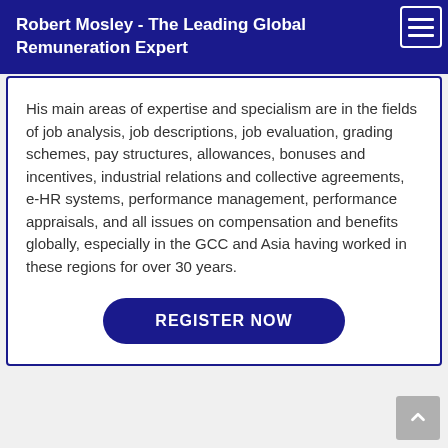Robert Mosley - The Leading Global Remuneration Expert
His main areas of expertise and specialism are in the fields of job analysis, job descriptions, job evaluation, grading schemes, pay structures, allowances, bonuses and incentives, industrial relations and collective agreements, e-HR systems, performance management, performance appraisals, and all issues on compensation and benefits globally, especially in the GCC and Asia having worked in these regions for over 30 years.
REGISTER NOW